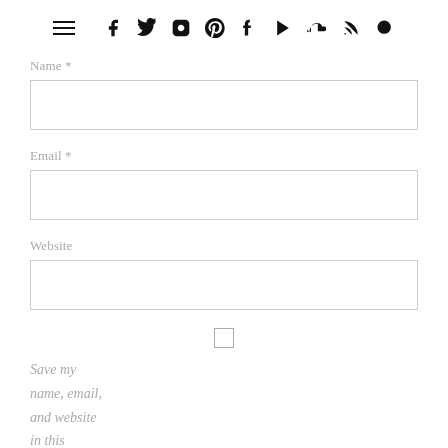≡ f t 📷 p t ▶ 🎵 )) 🔍
Name *
Email *
Website
[Figure (other): Checkbox (unchecked square)]
Save my name, email, and website in this browser for the next time